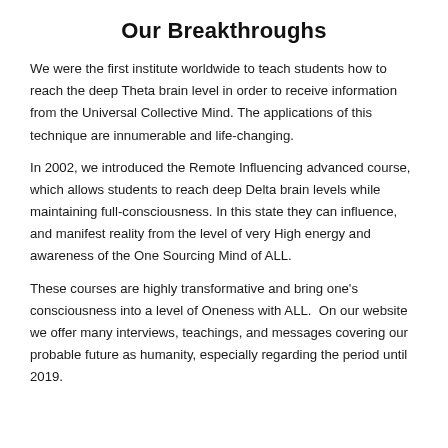Our Breakthroughs
We were the first institute worldwide to teach students how to reach the deep Theta brain level in order to receive information from the Universal Collective Mind. The applications of this technique are innumerable and life-changing.
In 2002, we introduced the Remote Influencing advanced course, which allows students to reach deep Delta brain levels while maintaining full-consciousness. In this state they can influence, and manifest reality from the level of very High energy and awareness of the One Sourcing Mind of ALL.
These courses are highly transformative and bring one's consciousness into a level of Oneness with ALL.  On our website we offer many interviews, teachings, and messages covering our probable future as humanity, especially regarding the period until 2019.